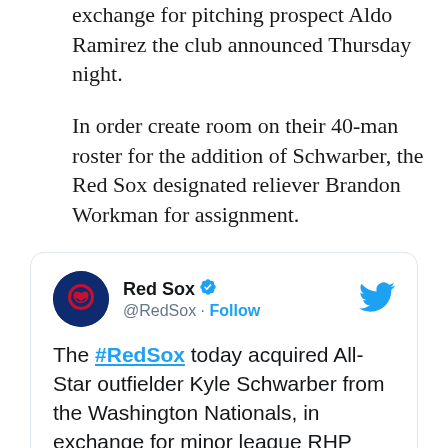exchange for pitching prospect Aldo Ramirez the club announced Thursday night.
In order create room on their 40-man roster for the addition of Schwarber, the Red Sox designated reliever Brandon Workman for assignment.
[Figure (screenshot): Embedded tweet from @RedSox with Boston Red Sox avatar, verified checkmark, and Twitter bird icon. Tweet text: 'The #RedSox today acquired All-Star outfielder Kyle Schwarber from the Washington Nationals, in exchange for minor league RHP Aldo Ramirez. To make room for Schwarber on the 40-man roster, the Red Sox']